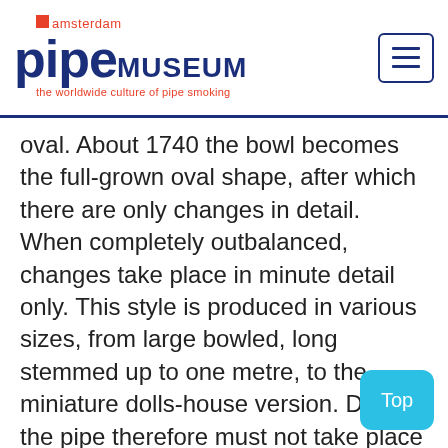amsterdam pipe MUSEUM - the worldwide culture of pipe smoking
oval. About 1740 the bowl becomes the full-grown oval shape, after which there are only changes in detail. When completely outbalanced, changes take place in minute detail only. This style is produced in various sizes, from large bowled, long stemmed up to one metre, to the miniature dolls-house version. Dating the pipe therefore must not take place on the basis of size, but on the slight variations in shape.